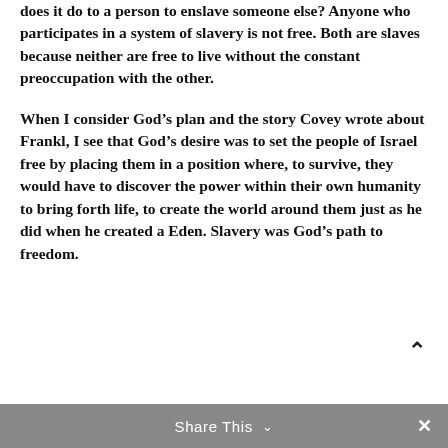does it do to a person to enslave someone else? Anyone who participates in a system of slavery is not free. Both are slaves because neither are free to live without the constant preoccupation with the other.
When I consider God’s plan and the story Covey wrote about Frankl, I see that God’s desire was to set the people of Israel free by placing them in a position where, to survive, they would have to discover the power within their own humanity to bring forth life, to create the world around them just as he did when he created a Eden. Slavery was God’s path to freedom.
Share This ⌄  ×